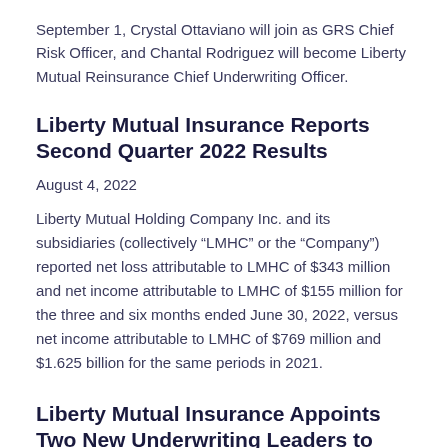September 1, Crystal Ottaviano will join as GRS Chief Risk Officer, and Chantal Rodriguez will become Liberty Mutual Reinsurance Chief Underwriting Officer.
Liberty Mutual Insurance Reports Second Quarter 2022 Results
August 4, 2022
Liberty Mutual Holding Company Inc. and its subsidiaries (collectively “LMHC” or the “Company”) reported net loss attributable to LMHC of $343 million and net income attributable to LMHC of $155 million for the three and six months ended June 30, 2022, versus net income attributable to LMHC of $769 million and $1.625 billion for the same periods in 2021.
Liberty Mutual Insurance Appoints Two New Underwriting Leaders to Global Risk